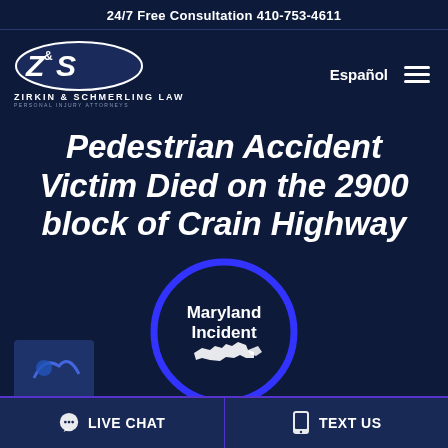24/7 Free Consultation 410-753-4611
[Figure (logo): Zirkin & Schmerling Law logo — Z&S initials in white oval, with firm name below]
Español
Pedestrian Accident Victim Died on the 2900 block of Crain Highway
[Figure (illustration): Maryland Incident badge — circular badge with blue border containing text 'Maryland Incident' and a white silhouette of the state of Maryland]
LIVE CHAT
TEXT US